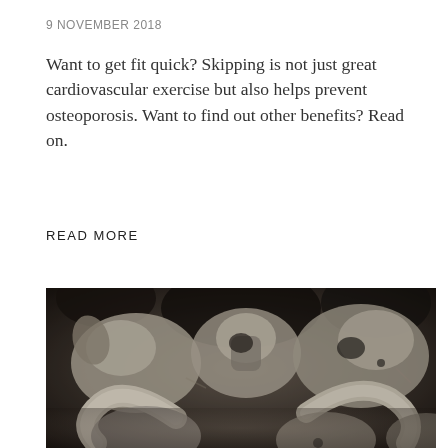9 NOVEMBER 2018
Want to get fit quick? Skipping is not just great cardiovascular exercise but also helps prevent osteoporosis. Want to find out other benefits? Read on.
READ MORE
[Figure (photo): A dark, moody photograph showing a collection of animal skulls and horns (appearing to be cattle/bovine skulls) piled together, with large curved horns visible prominently in the lower portion of the image. The image has a sepia/desaturated tone.]